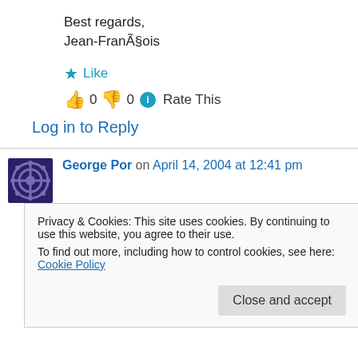Best regards,
Jean-François
★ Like
👍 0 👎 0 ℹ Rate This
Log in to Reply
George Por on April 14, 2004 at 12:41 pm
hi Jean-François,
Thank you for adding depth to your comment
Privacy & Cookies: This site uses cookies. By continuing to use this website, you agree to their use.
To find out more, including how to control cookies, see here: Cookie Policy
Close and accept
happen within a group that practices collective